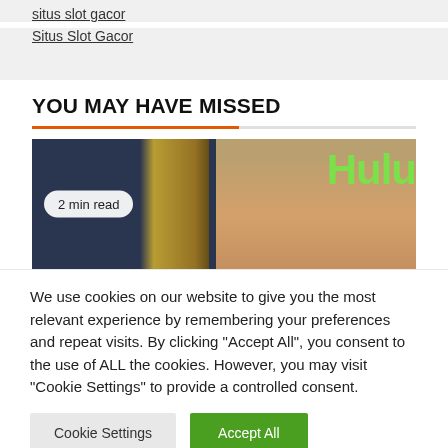situs slot gacor
Situs Slot Gacor
YOU MAY HAVE MISSED
[Figure (photo): Article thumbnail showing a person with upswept hair at an event with Hulu branding visible. A '2 min read' badge is overlaid on the left side.]
We use cookies on our website to give you the most relevant experience by remembering your preferences and repeat visits. By clicking "Accept All", you consent to the use of ALL the cookies. However, you may visit "Cookie Settings" to provide a controlled consent.
Cookie Settings | Accept All